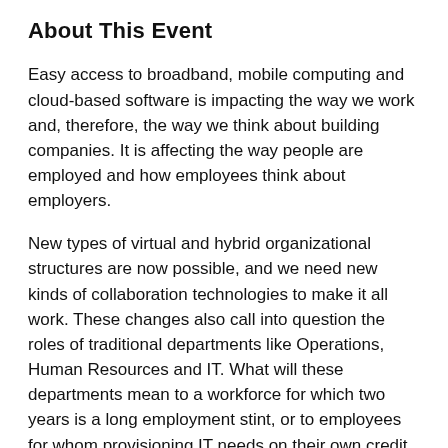About This Event
Easy access to broadband, mobile computing and cloud-based software is impacting the way we work and, therefore, the way we think about building companies. It is affecting the way people are employed and how employees think about employers.
New types of virtual and hybrid organizational structures are now possible, and we need new kinds of collaboration technologies to make it all work. These changes also call into question the roles of traditional departments like Operations, Human Resources and IT. What will these departments mean to a workforce for which two years is a long employment stint, or to employees for whom provisioning IT needs on their own credit card is more productive than calling the IT help desk? Do you need 200 people on a task for just three